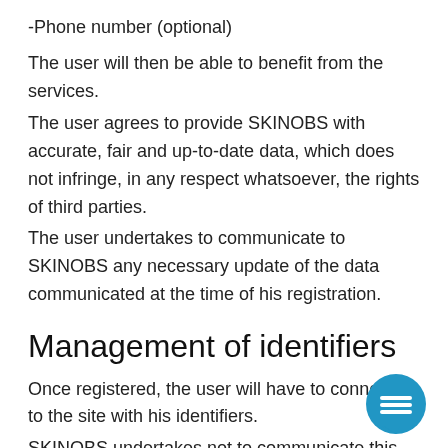-Phone number (optional)
The user will then be able to benefit from the services.
The user agrees to provide SKINOBS with accurate, fair and up-to-date data, which does not infringe, in any respect whatsoever, the rights of third parties.
The user undertakes to communicate to SKINOBS any necessary update of the data communicated at the time of his registration.
Management of identifiers
Once registered, the user will have to connect to the site with his identifiers.
SKINOBS undertakes not to communicate this